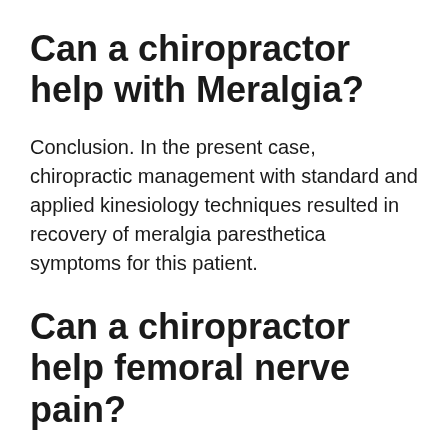Can a chiropractor help with Meralgia?
Conclusion. In the present case, chiropractic management with standard and applied kinesiology techniques resulted in recovery of meralgia paresthetica symptoms for this patient.
Can a chiropractor help femoral nerve pain?
Chiropractic is a common technique used for femoral neuropathy as it incorporates, adjustments, interferential stimulation, low level laser, massage, thumper, acupuncture and exercises to relieve the tight muscle...